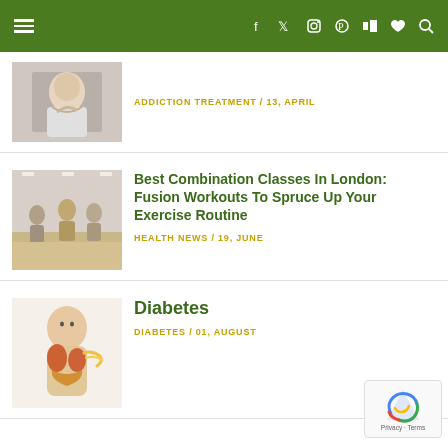≡  f  🐦  📷  Pinterest  in  ♥  🔍
[Figure (photo): Person holding their neck/back in pain, side view]
ADDICTION TREATMENT / 13, APRIL
Best Combination Classes In London: Fusion Workouts To Spruce Up Your Exercise Routine
[Figure (photo): Group fitness class in a gym studio with people exercising]
HEALTH NEWS / 19, JUNE
Diabetes
[Figure (illustration): Medical illustration of human torso showing internal organs related to diabetes]
DIABETES / 01, AUGUST